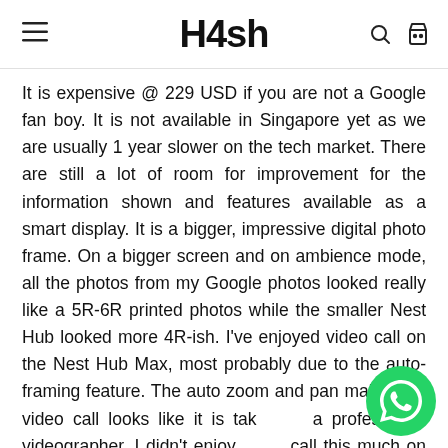H4sh
It is expensive @ 229 USD if you are not a Google fan boy. It is not available in Singapore yet as we are usually 1 year slower on the tech market. There are still a lot of room for improvement for the information shown and features available as a smart display. It is a bigger, impressive digital photo frame. On a bigger screen and on ambience mode, all the photos from my Google photos looked really like a 5R-6R printed photos while the smaller Nest Hub looked more 4R-ish. I've enjoyed video call on the Nest Hub Max, most probably due to the auto-framing feature. The auto zoom and pan makes the video call looks like it is taken by a professional videographer. I didn't enjoy video call this much on other displays or tablets. Well done for the Nest Hub Max Google!
[Figure (other): WhatsApp contact button (green circle with phone icon) in lower right corner]